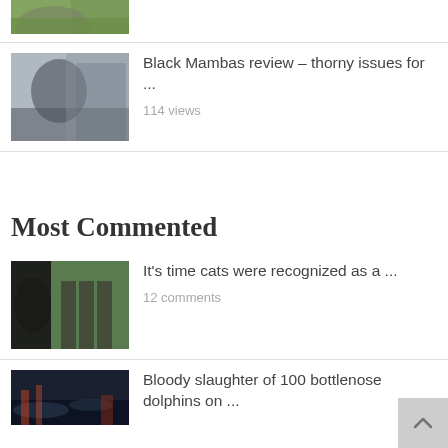[Figure (photo): Partial view of an elephant in grass, cropped at top]
[Figure (photo): Person in military/camouflage gear outdoors near a train]
Black Mambas review – thorny issues for ...
114 views
Most Commented
[Figure (photo): Black cat looking through a window/balcony with a bird outside]
It's time cats were recognized as a ...
12 comments
[Figure (photo): Dark water scene at night with lights, dolphins article thumbnail]
Bloody slaughter of 100 bottlenose dolphins on ...